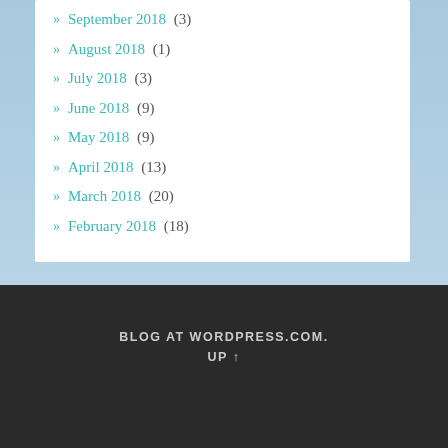» September 2018 (3)
» August 2018 (1)
» July 2018 (3)
» June 2018 (9)
» May 2018 (9)
» April 2018 (13)
» March 2018 (20)
» February 2018 (18)
BLOG AT WORDPRESS.COM. UP ↑